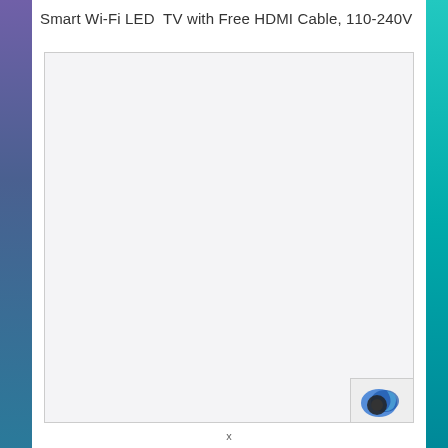Smart Wi-Fi LED TV with Free HDMI Cable, 110-240V
[Figure (photo): Large white/light gray blank product image area with a border, representing a product photo placeholder for a Smart Wi-Fi LED TV. A small icon with blue and dark circular design is visible at the bottom right corner of the image box.]